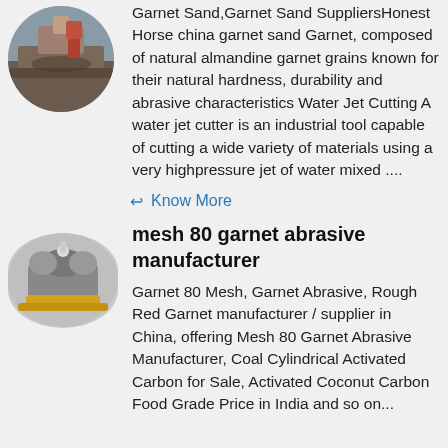[Figure (photo): Circular thumbnail image showing a mining or outdoor landscape scene with reddish earth and machinery.]
Garnet Sand,Garnet Sand SuppliersHonest Horse china garnet sand Garnet, composed of natural almandine garnet grains known for their natural hardness, durability and abrasive characteristics Water Jet Cutting A water jet cutter is an industrial tool capable of cutting a wide variety of materials using a very highpressure jet of water mixed ....
↩ Know More
[Figure (photo): Oval/elliptical thumbnail image of industrial grinding or milling machine equipment with yellow base.]
mesh 80 garnet abrasive manufacturer
Garnet 80 Mesh, Garnet Abrasive, Rough Red Garnet manufacturer / supplier in China, offering Mesh 80 Garnet Abrasive Manufacturer, Coal Cylindrical Activated Carbon for Sale, Activated Coconut Carbon Food Grade Price in India and so on...